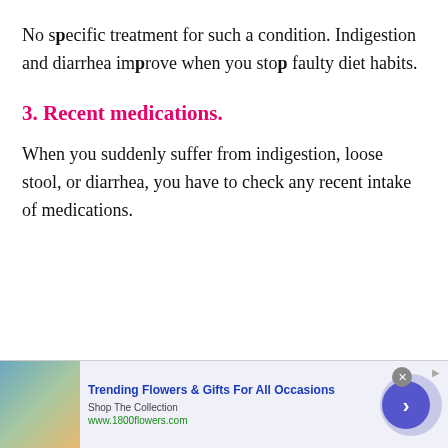No specific treatment for such a condition. Indigestion and diarrhea improve when you stop faulty diet habits.
3. Recent medications.
When you suddenly suffer from indigestion, loose stool, or diarrhea, you have to check any recent intake of medications.
[Figure (infographic): Advertisement banner for 1800flowers.com showing a woman holding flowers, with text 'Trending Flowers & Gifts For All Occasions', 'Shop The Collection', 'www.1800flowers.com', a blue arrow button, and a close (x) button.]